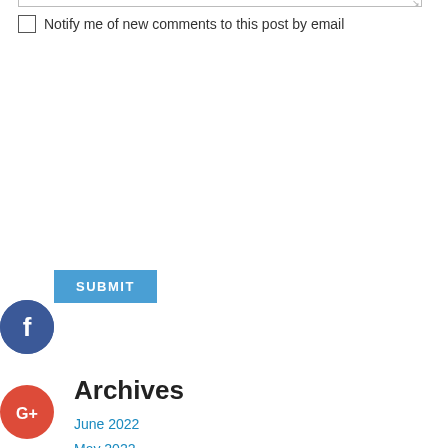Notify me of new comments to this post by email
SUBMIT
[Figure (illustration): Social share floating buttons: Facebook (blue circle with f), Google+ (red circle with G+), Twitter (blue circle with bird), Pinterest (red circle with P), Tumblr (dark circle with t), Reddit (orange circle with alien)]
Archives
June 2022
May 2022
April 2022
March 2022
February 2022
January 2022
May 2021
April 2021
June 2020
May 2020
February 2020